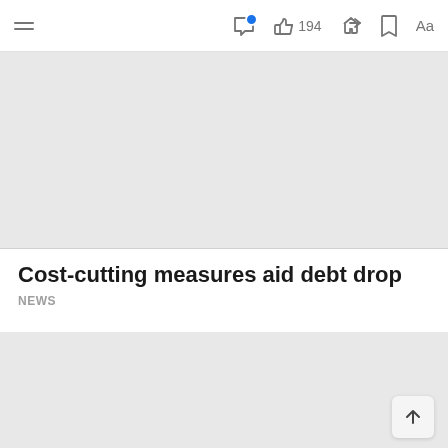194
[Figure (photo): Gray placeholder image at top of article]
Cost-cutting measures aid debt drop
NEWS
[Figure (photo): Gray placeholder image below article header]